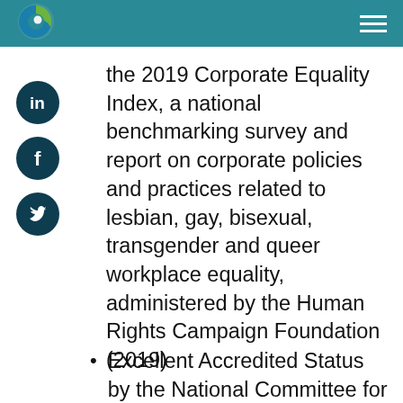[Figure (logo): Green and blue circular G logo]
[Figure (illustration): Hamburger menu icon (three horizontal white lines)]
[Figure (illustration): LinkedIn social media icon - dark teal circle with 'in']
[Figure (illustration): Facebook social media icon - dark teal circle with 'f']
[Figure (illustration): Twitter social media icon - dark teal circle with bird]
the 2019 Corporate Equality Index, a national benchmarking survey and report on corporate policies and practices related to lesbian, gay, bisexual, transgender and queer workplace equality, administered by the Human Rights Campaign Foundation (2019)
Excellent Accredited Status by the National Committee for